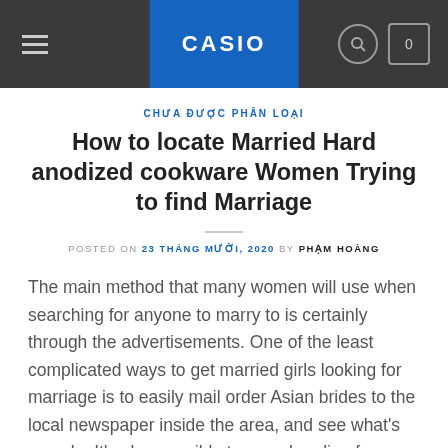CASIO
CHƯA ĐƯỢC PHÂN LOẠI
How to locate Married Hard anodized cookware Women Trying to find Marriage
POSTED ON 23 THÁNG MƯỜI, 2020 BY PHẠM HOÀNG
The main method that many women will use when searching for anyone to marry to is certainly through the advertisements. One of the least complicated ways to get married girls looking for marriage is to easily mail order Asian brides to the local newspaper inside the area, and see what's on sale. It's also possible to search online for